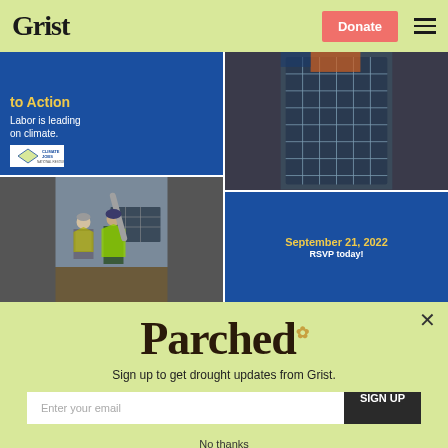Grist | Donate
[Figure (photo): Composite image: left top shows blue banner with text 'to Action' and 'Labor is leading on climate.' with Climate Jobs National Resource Center logo; left bottom shows workers in high-visibility vests installing solar panels; right top shows close-up of solar panel grid; right bottom is blue panel with yellow text 'September 21, 2022' and white text 'RSVP today!']
Parched
Sign up to get drought updates from Grist.
Enter your email
SIGN UP
No thanks